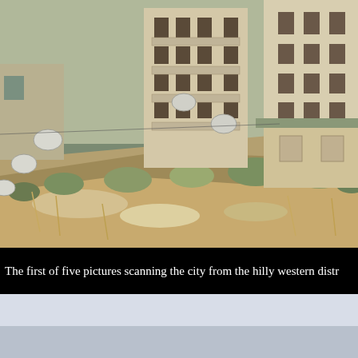[Figure (photo): Photograph of multi-story apartment buildings on a hilly terrain in what appears to be a Balkan city. Buildings are beige/cream colored with balconies and satellite dishes. Foreground shows a dry, rocky hillside with sparse vegetation and wild grass.]
The first of five pictures scanning the city from the hilly western distr
[Figure (photo): Partial view of a second photograph, mostly light blue/grey sky, bottom portion of image.]